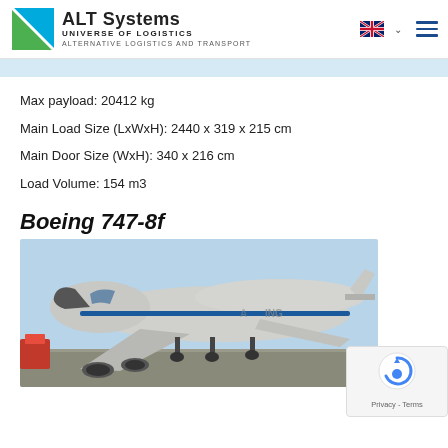ALT Systems - UNIVERSE OF LOGISTICS - ALTERNATIVE LOGISTICS AND TRANSPORT
Max payload: 20412 kg
Main Load Size (LxWxH): 2440 x 319 x 215 cm
Main Door Size (WxH): 340 x 216 cm
Load Volume: 154 m3
Boeing 747-8f
[Figure (photo): Boeing 747-8f cargo aircraft on tarmac, front-left view showing nose-loading door open, livery in white and grey with blue accent stripe]